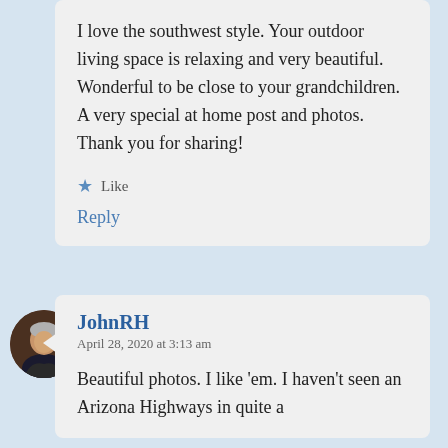I love the southwest style. Your outdoor living space is relaxing and very beautiful. Wonderful to be close to your grandchildren. A very special at home post and photos. Thank you for sharing!
★ Like
Reply
[Figure (photo): Circular avatar photo of a man in dark clothing against a dark background]
JohnRH
April 28, 2020 at 3:13 am
Beautiful photos. I like 'em. I haven't seen an Arizona Highways in quite a